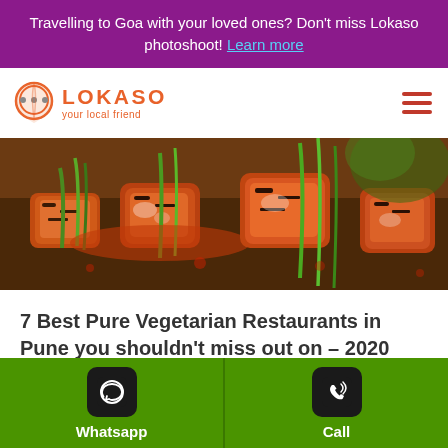Travelling to Goa with your loved ones? Don't miss Lokaso photoshoot! Learn more
[Figure (logo): Lokaso logo with map pin icon and tagline 'your local friend']
[Figure (photo): Close-up photo of grilled paneer tikka with green vegetables]
7 Best Pure Vegetarian Restaurants in Pune you shouldn't miss out on – 2020
Lokaso   May 5, 2020
[Figure (infographic): Green bottom bar with WhatsApp and Call buttons]